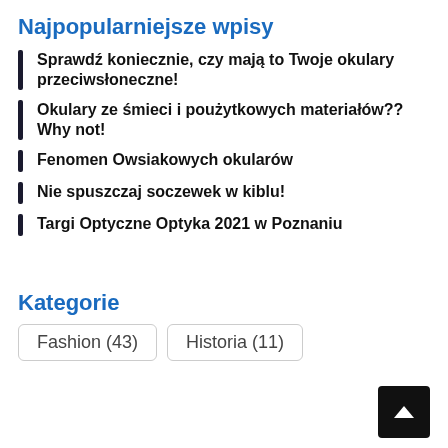Najpopularniejsze wpisy
Sprawdź koniecznie, czy mają to Twoje okulary przeciwsłoneczne!
Okulary ze śmieci i poużytkowych materiałów?? Why not!
Fenomen Owsiakowych okularów
Nie spuszczaj soczewek w kiblu!
Targi Optyczne Optyka 2021 w Poznaniu
Kategorie
Fashion (43)
Historia (11)